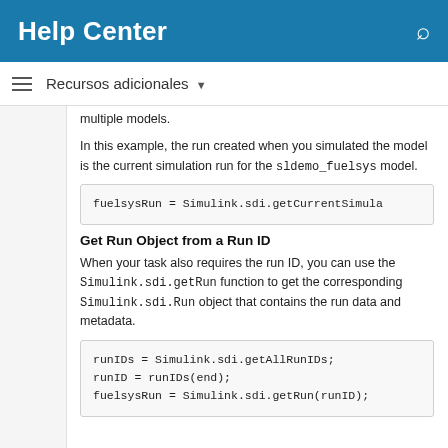Help Center
Recursos adicionales
multiple models.
In this example, the run created when you simulated the model is the current simulation run for the sldemo_fuelsys model.
[Figure (screenshot): Code box showing: fuelsysRun = Simulink.sdi.getCurrentSimula]
Get Run Object from a Run ID
When your task also requires the run ID, you can use the Simulink.sdi.getRun function to get the corresponding Simulink.sdi.Run object that contains the run data and metadata.
[Figure (screenshot): Code box showing:
runIDs = Simulink.sdi.getAllRunIDs;
runID = runIDs(end);
fuelsysRun = Simulink.sdi.getRun(runID);]